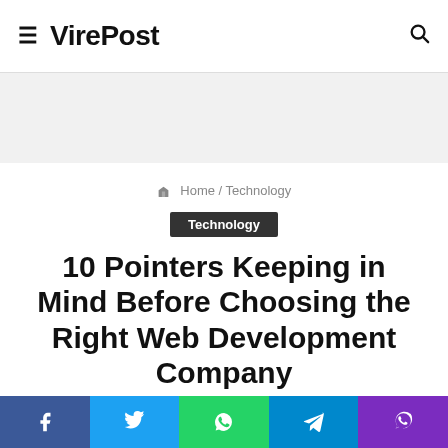VirePost
Home / Technology
Technology
10 Pointers Keeping in Mind Before Choosing the Right Web Development Company
January 30, 2022  12  5 minutes read